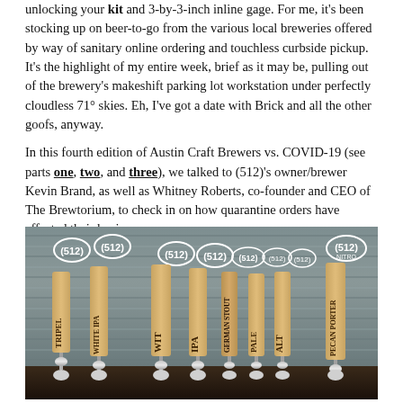unlocking your kit and 3-by-3-inch inline gage. For me, it's been stocking up on beer-to-go from the various local breweries offered by way of sanitary online ordering and touchless curbside pickup. It's the highlight of my entire week, brief as it may be, pulling out of the brewery's makeshift parking lot workstation under perfectly cloudless 71° skies. Eh, I've got a date with Brick and all the other goofs, anyway.
In this fourth edition of Austin Craft Brewers vs. COVID-19 (see parts one, two, and three), we talked to (512)'s owner/brewer Kevin Brand, as well as Whitney Roberts, co-founder and CEO of The Brewtorium, to check in on how quarantine orders have affected their businesses.
[Figure (photo): Photo of multiple (512) branded beer tap handles lined up on a bar, showing various beer types including Tripel, White IPA, Wit, IPA, German Stout, Pale, Pale, Alt, Pecan, Porter. The background is corrugated metal siding.]